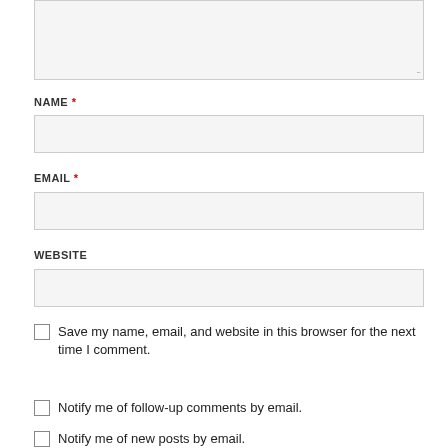[textarea input box]
NAME *
[name input box]
EMAIL *
[email input box]
WEBSITE
[website input box]
Save my name, email, and website in this browser for the next time I comment.
Notify me of follow-up comments by email.
Notify me of new posts by email.